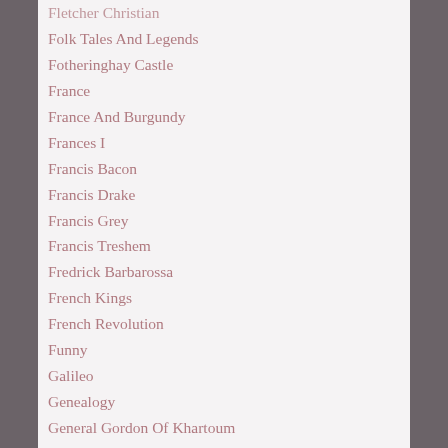Fletcher Christian
Folk Tales And Legends
Fotheringhay Castle
France
France And Burgundy
Frances I
Francis Bacon
Francis Drake
Francis Grey
Francis Treshem
Fredrick Barbarossa
French Kings
French Revolution
Funny
Galileo
Genealogy
General Gordon Of Khartoum
Geoffrey Boleyn
Geoffrey Of Monmouth
George Boleyn